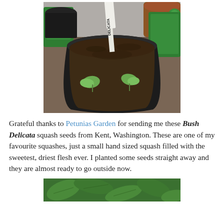[Figure (photo): A black pot filled with dark soil containing two small seedlings. A white plant label reading 'DELICATA' is stuck in the soil. Background shows other pots, green bags, and gardening materials.]
Grateful thanks to Petunias Garden for sending me these Bush Delicata squash seeds from Kent, Washington. These are one of my favourite squashes, just a small hand sized squash filled with the sweetest, driest flesh ever. I planted some seeds straight away and they are almost ready to go outside now.
[Figure (photo): Partial view of green leafy plants, bottom of page.]